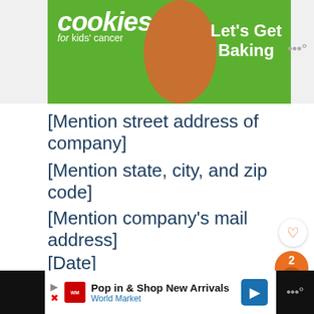[Figure (screenshot): Green banner advertisement for 'cookies for kids cancer — Let's Get Baking' with a cookie image on right]
[Mention street address of company]
[Mention state, city, and zip code]
[Mention company's mail address]
[Date]
[Name of the recipient]
[Mention street address of recipient]
[Figure (screenshot): Bottom advertisement banner for World Market — Pop in & Shop New Arrivals]